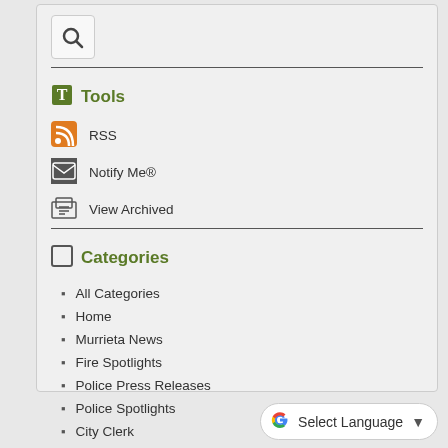[Figure (other): Search button icon with magnifying glass]
Tools
RSS
Notify Me®
View Archived
Categories
All Categories
Home
Murrieta News
Fire Spotlights
Police Press Releases
Police Spotlights
City Clerk
City Hall Press Releases
Fire Department Press Releases
Select Language